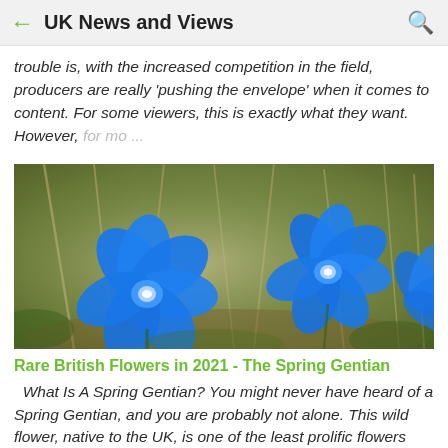UK News and Views
trouble is, with the increased competition in the field, producers are really 'pushing the envelope' when it comes to content. For some viewers, this is exactly what they want. However, for mo...
[Figure (photo): Close-up photo of vivid blue Spring Gentian wildflowers against a blurred natural background of dead grass and greenery.]
Rare British Flowers in 2021 - The Spring Gentian
What Is A Spring Gentian? You might never have heard of a Spring Gentian, and you are probably not alone. This wild flower, native to the UK, is one of the least prolific flowers that you will see on a forest walk. It's Latin name is Gentiana Verna Gentio...